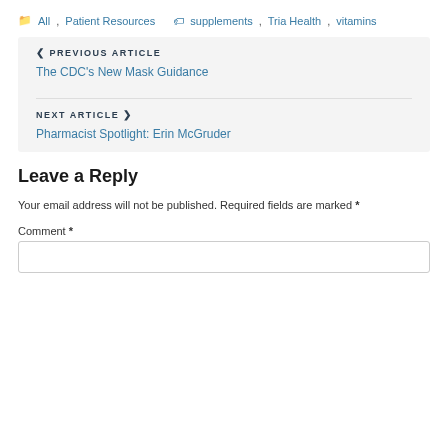All, Patient Resources  supplements, Tria Health, vitamins
❮ PREVIOUS ARTICLE
The CDC's New Mask Guidance
NEXT ARTICLE ❯
Pharmacist Spotlight: Erin McGruder
Leave a Reply
Your email address will not be published. Required fields are marked *
Comment *